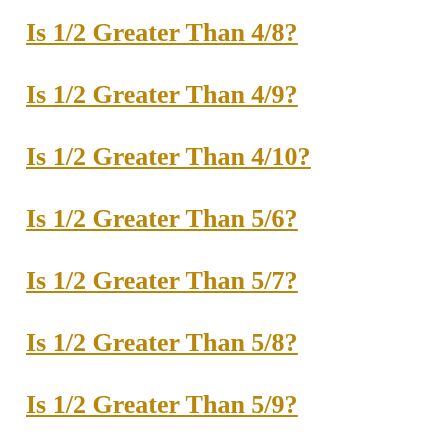Is 1/2 Greater Than 4/8?
Is 1/2 Greater Than 4/9?
Is 1/2 Greater Than 4/10?
Is 1/2 Greater Than 5/6?
Is 1/2 Greater Than 5/7?
Is 1/2 Greater Than 5/8?
Is 1/2 Greater Than 5/9?
Is 1/2 Greater Than 5/10?